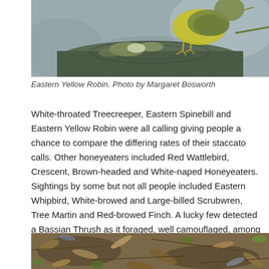[Figure (photo): Eastern Yellow Robin perched on a mossy tree stump, partial view showing yellow breast and legs, blurred grey background]
Eastern Yellow Robin. Photo by Margaret Bosworth
White-throated Treecreeper, Eastern Spinebill and Eastern Yellow Robin were all calling giving people a chance to compare the differing rates of their staccato calls. Other honeyeaters included Red Wattlebird, Crescent, Brown-headed and White-naped Honeyeaters. Sightings by some but not all people included Eastern Whipbird, White-browed and Large-billed Scrubwren, Tree Martin and Red-browed Finch. A lucky few detected a Bassian Thrush as it foraged, well camouflaged, among the ground litter.
[Figure (photo): Ground-level photo of forest floor with dried leaves, twigs and small green plants — likely showing a camouflaged Bassian Thrush among the leaf litter]